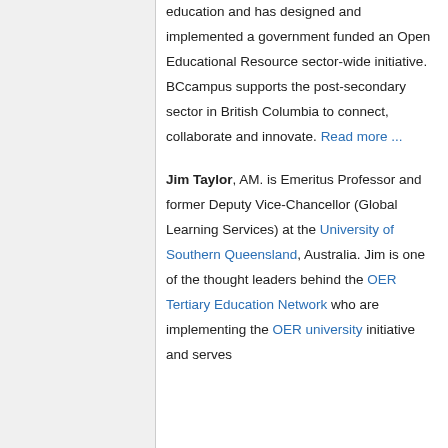[Figure (photo): Headshot photo of a person in a blue shirt, cropped at top of page]
education and has designed and implemented a government funded an Open Educational Resource sector-wide initiative. BCcampus supports the post-secondary sector in British Columbia to connect, collaborate and innovate. Read more ...
Jim Taylor, AM. is Emeritus Professor and former Deputy Vice-Chancellor (Global Learning Services) at the University of Southern Queensland, Australia. Jim is one of the thought leaders behind the OER Tertiary Education Network who are implementing the OER university initiative and serves
[Figure (photo): Headshot photo of Jim Taylor, a middle-aged man in a suit, against a green background]